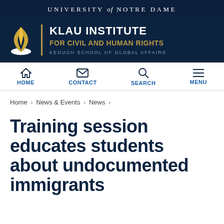UNIVERSITY of NOTRE DAME
[Figure (logo): Klau Institute for Civil and Human Rights logo with flame icon, gold divider, white text 'KLAU INSTITUTE', gold text 'FOR CIVIL AND HUMAN RIGHTS', grey text 'KEOUGH SCHOOL OF GLOBAL AFFAIRS', on dark navy background]
HOME  CONTACT  SEARCH  MENU
Home › News & Events › News ›
Training session educates students about undocumented immigrants